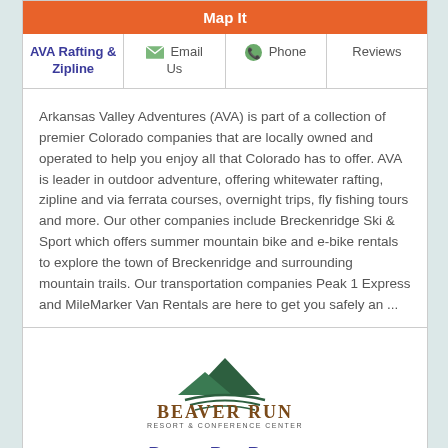| AVA Rafting & Zipline | Email Us | Phone | Reviews |
| --- | --- | --- | --- |
Arkansas Valley Adventures (AVA) is part of a collection of premier Colorado companies that are locally owned and operated to help you enjoy all that Colorado has to offer. AVA is leader in outdoor adventure, offering whitewater rafting, zipline and via ferrata courses, overnight trips, fly fishing tours and more. Our other companies include Breckenridge Ski & Sport which offers summer mountain bike and e-bike rentals to explore the town of Breckenridge and surrounding mountain trails. Our transportation companies Peak 1 Express and MileMarker Van Rentals are here to get you safely an ...
Read more
[Figure (logo): Beaver Run Resort & Conference Center logo with mountain graphic]
Beaver Run Resort